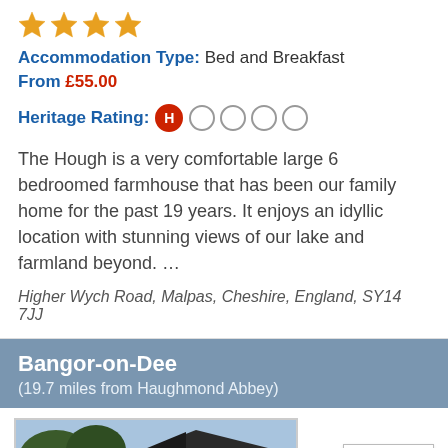[Figure (other): Four orange/gold star rating icons]
Accommodation Type: Bed and Breakfast
From £55.00
Heritage Rating: H (1 out of 5 circles filled)
The Hough is a very comfortable large 6 bedroomed farmhouse that has been our family home for the past 19 years. It enjoys an idyllic location with stunning views of our lake and farmland beyond. …
Higher Wych Road, Malpas, Cheshire, England, SY14 7JJ
Bangor-on-Dee
(19.7 miles from Haughmond Abbey)
[Figure (photo): Photo of a white-walled building/farmhouse with dark roof and windows, with trees in background]
TOP